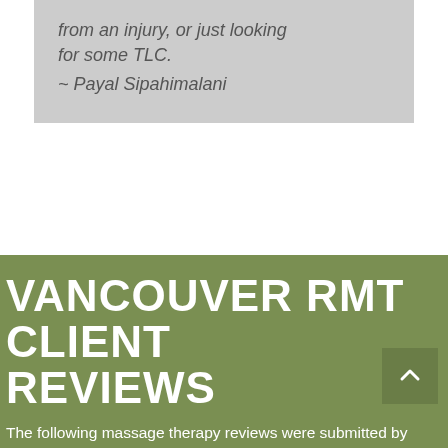from an injury, or just looking for some TLC.
~ Payal Sipahimalani
VANCOUVER RMT CLIENT REVIEWS
The following massage therapy reviews were submitted by Vancouver clients.